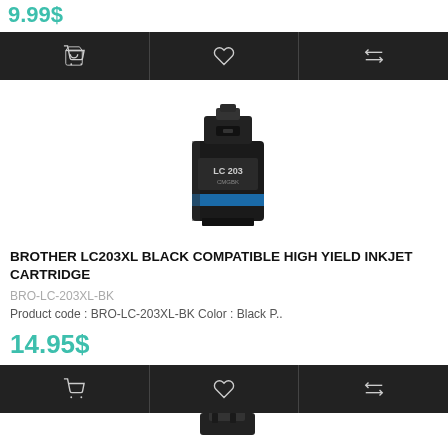9.99$
[Figure (illustration): Three dark action buttons: shopping cart icon, heart icon, and compare/arrows icon]
[Figure (photo): Brother LC203 black inkjet cartridge]
BROTHER LC203XL BLACK COMPATIBLE HIGH YIELD INKJET CARTRIDGE
BRO-LC-203XL-BK
Product code : BRO-LC-203XL-BK Color : Black P..
14.95$
[Figure (illustration): Three dark action buttons: shopping cart icon, heart icon, and compare/arrows icon]
[Figure (photo): Partial view of another black inkjet cartridge at the bottom of the page]